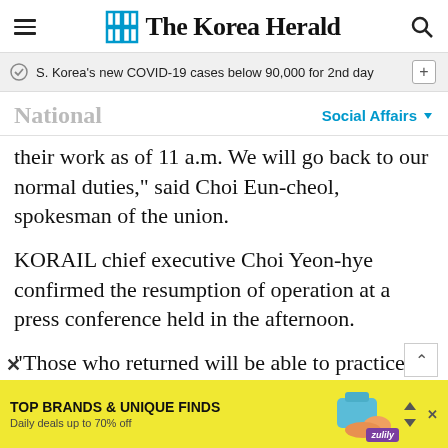The Korea Herald
S. Korea's new COVID-19 cases below 90,000 for 2nd day
National
Social Affairs
their work as of 11 a.m. We will go back to our normal duties," said Choi Eun-cheol, spokesman of the union.
KORAIL chief executive Choi Yeon-hye confirmed the resumption of operation at a press conference held in the afternoon.
“Those who returned will be able to practice their shifts after taking a three-day safety training," she said. "Therefore, we expect
[Figure (other): Advertisement banner: TOP BRANDS & UNIQUE FINDS - Daily deals up to 70% off - Zulily]